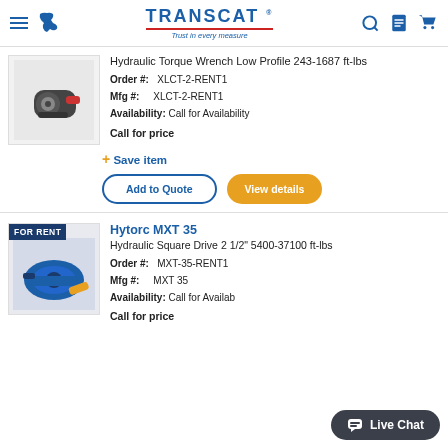TRANSCAT — Trust in every measure
Hydraulic Torque Wrench Low Profile 243-1687 ft-lbs
Order #: XLCT-2-RENT1
Mfg #: XLCT-2-RENT1
Availability: Call for Availability
Call for price
+ Save item
Hytorc MXT 35
Hydraulic Square Drive 2 1/2" 5400-37100 ft-lbs
Order #: MXT-35-RENT1
Mfg #: MXT 35
Availability: Call for Availability
Call for price